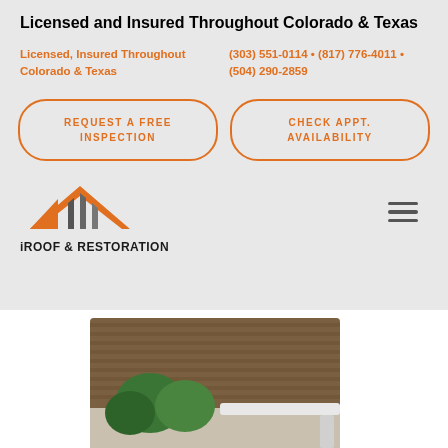Licensed and Insured Throughout Colorado & Texas
Licensed, Insured Throughout Colorado & Texas
(303) 551-0114 • (817) 776-4011 • (504) 290-2859
REQUEST A FREE INSPECTION
CHECK APPT. AVAILABILITY
[Figure (logo): iROOF & RESTORATION logo with stylized roof/house icon in orange and gray]
[Figure (photo): Photo of a house roof with gutters and trees in background]